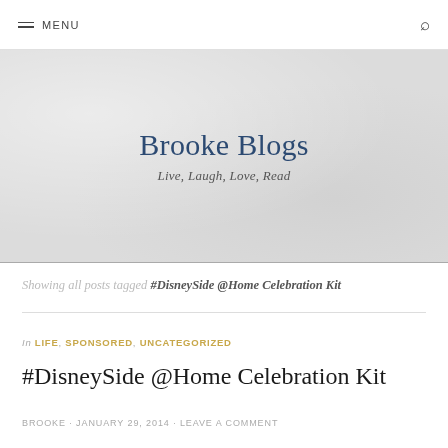MENU
[Figure (illustration): Brooke Blogs website header banner with textured grey background]
Brooke Blogs
Live, Laugh, Love, Read
Showing all posts tagged #DisneySide @Home Celebration Kit
In LIFE, SPONSORED, UNCATEGORIZED
#DisneySide @Home Celebration Kit
BROOKE · JANUARY 29, 2014 · LEAVE A COMMENT